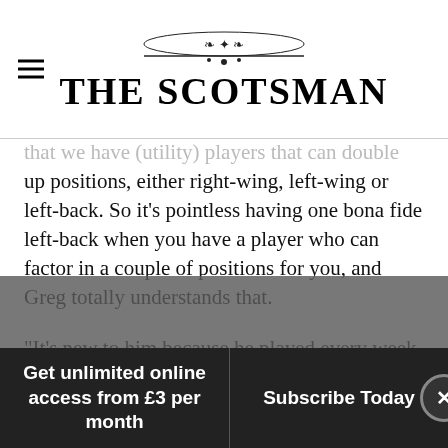THE SCOTSMAN
...that we have (utility) players that can double up positions, either right-wing, left-wing or left-back. So it's pointless having one bona fide left-back when you have a player who can factor in a couple of positions for you, and Greg totally understands that.
“It’s new to him because he played every week at Kilmarnock and I was a big fan of him when I was managing Hibs. I thought he was excellent over the two years I was at Hibs and he was at Kilmarnock, so it’s new for him but…
Get unlimited online access from £3 per month
Subscribe Today